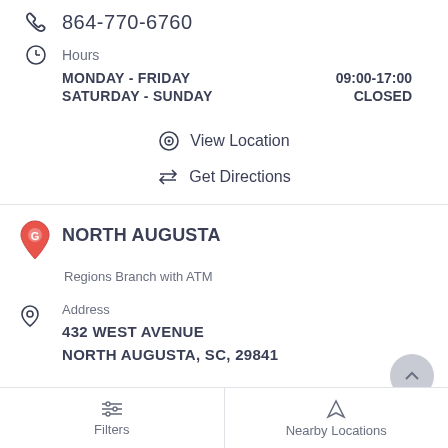864-770-6760
Hours
MONDAY - FRIDAY   09:00-17:00
SATURDAY - SUNDAY   CLOSED
View Location
Get Directions
NORTH AUGUSTA
Regions Branch with ATM
Address
432 WEST AVENUE
NORTH AUGUSTA, SC, 29841
Filters   Nearby Locations